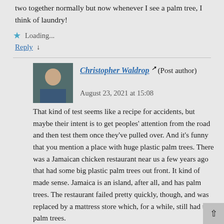two together normally but now whenever I see a palm tree, I think of laundry!
Loading...
Reply ↓
Christopher Waldrop (Post author)
August 23, 2021 at 15:08
That kind of test seems like a recipe for accidents, but maybe their intent is to get peoples' attention from the road and then test them once they've pulled over. And it's funny that you mention a place with huge plastic palm trees. There was a Jamaican chicken restaurant near us a few years ago that had some big plastic palm trees out front. It kind of made sense. Jamaica is an island, after all, and has palm trees. The restaurant failed pretty quickly, though, and was replaced by a mattress store which, for a while, still had the palm trees.